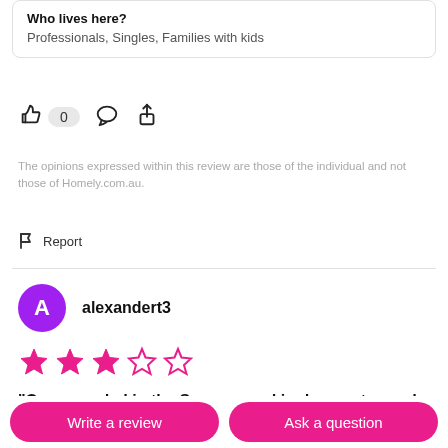Who lives here?
Professionals, Singles, Families with kids
The opinions expressed within this review are those of the individual and not those of Homely.com.au.
Report
alexandert3
3 out of 5 stars
"Overcrowded in the Summer and in desperate need of some love"
Write a review
Ask a question